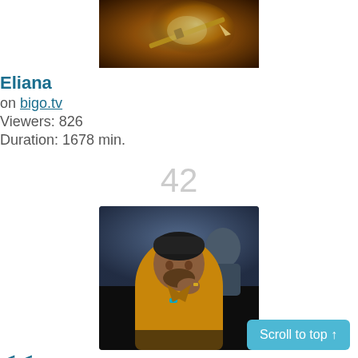[Figure (photo): Partial image of a golden sword / game visual at the top]
Eliana
on bigo.tv
Viewers: 826
Duration: 1678 min.
42
[Figure (photo): Photo of a man in a yellow shirt with hand on chin, wearing rings and a bracelet]
گینگ PehALwan™333
on bigo.tv
Viewers: 813
Duration: 101 min.